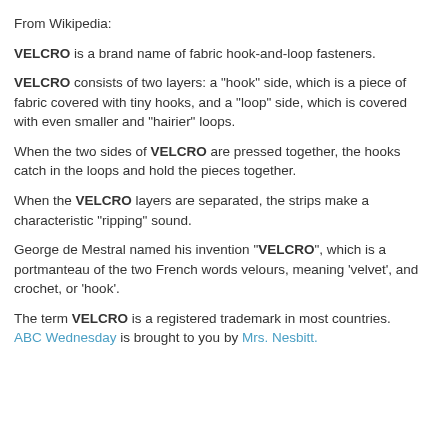From Wikipedia:
VELCRO is a brand name of fabric hook-and-loop fasteners.
VELCRO consists of two layers: a "hook" side, which is a piece of fabric covered with tiny hooks, and a "loop" side, which is covered with even smaller and "hairier" loops.
When the two sides of VELCRO are pressed together, the hooks catch in the loops and hold the pieces together.
When the VELCRO layers are separated, the strips make a characteristic "ripping" sound.
George de Mestral named his invention "VELCRO", which is a portmanteau of the two French words velours, meaning 'velvet', and crochet, or 'hook'.
The term VELCRO is a registered trademark in most countries. ABC Wednesday is brought to you by Mrs. Nesbitt.